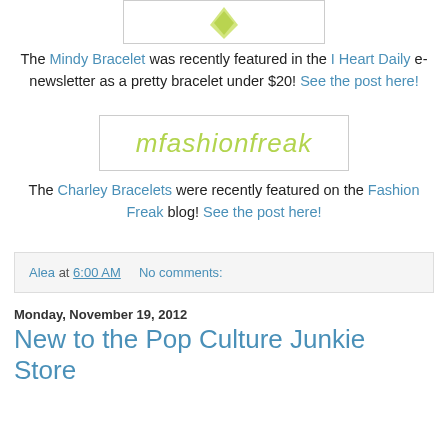[Figure (photo): Partial image of bracelet at top of page, white background with decorative element visible]
The Mindy Bracelet was recently featured in the I Heart Daily e-newsletter as a pretty bracelet under $20! See the post here!
[Figure (logo): mfashionfreak logo in green italic text on white background with border]
The Charley Bracelets were recently featured on the Fashion Freak blog! See the post here!
Alea at 6:00 AM    No comments:
Monday, November 19, 2012
New to the Pop Culture Junkie Store